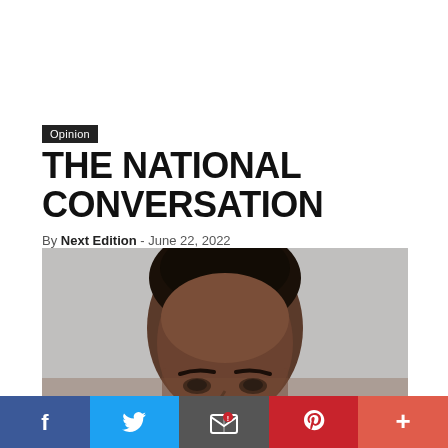Opinion
THE NATIONAL CONVERSATION
By Next Edition - June 22, 2022
[Figure (photo): Close-up portrait photo of a person, cropped to show top of head and eyes, against a gray background]
[Figure (infographic): Social media share bar with Facebook, Twitter, Email, Pinterest, and plus buttons]